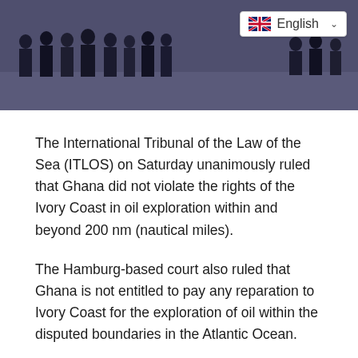[Figure (photo): Group of people standing in a room with a purple/blue floor; a language selector badge showing a UK flag and 'English' with a dropdown chevron is overlaid in the top-right corner of the image.]
The International Tribunal of the Law of the Sea (ITLOS) on Saturday unanimously ruled that Ghana did not violate the rights of the Ivory Coast in oil exploration within and beyond 200 nm (nautical miles).
The Hamburg-based court also ruled that Ghana is not entitled to pay any reparation to Ivory Coast for the exploration of oil within the disputed boundaries in the Atlantic Ocean.
The dispute started since Ghana's discovery of oil in 2007 which Ivory Coast laid claims to. Series of failed negotiations